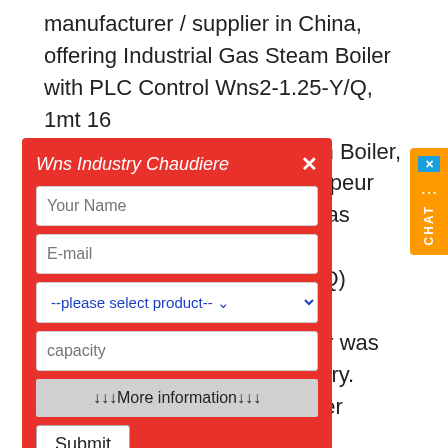manufacturer / supplier in China, offering Industrial Gas Steam Boiler with PLC Control Wns2-1.25-Y/Q, 1mt 16 Tph 15t H Natural Gas Steam Boiler, Wns Industry Chaudiere a Vapeur steam boiler was to the packing WNS2-1.25-Y(Q) boiler in Guangdong China The boiler was ed to the packing industry. Transportable Container Boiler (WNS2-1.25-Y(Q)) The character of container boiler 1, transport conviniently 2,
[Figure (screenshot): Red modal form overlay with title 'Wns Industry Chaudiere a Vapeur', fields for Your Name, E-mail, product dropdown '--please select product--', capacity text field, a 'More information' button, and a Submit button. There is an orange CHAT sidebar button on the right edge.]